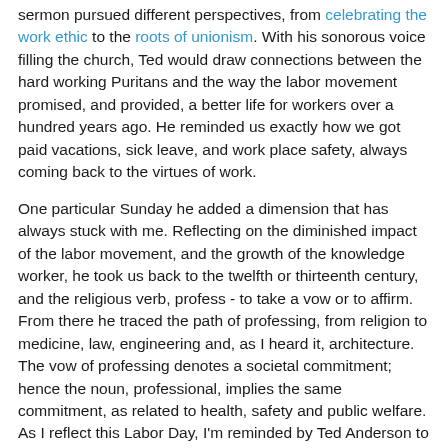sermon pursued different perspectives, from celebrating the work ethic to the roots of unionism. With his sonorous voice filling the church, Ted would draw connections between the hard working Puritans and the way the labor movement promised, and provided, a better life for workers over a hundred years ago. He reminded us exactly how we got paid vacations, sick leave, and work place safety, always coming back to the virtues of work.
One particular Sunday he added a dimension that has always stuck with me. Reflecting on the diminished impact of the labor movement, and the growth of the knowledge worker, he took us back to the twelfth or thirteenth century, and the religious verb, profess - to take a vow or to affirm. From there he traced the path of professing, from religion to medicine, law, engineering and, as I heard it, architecture. The vow of professing denotes a societal commitment; hence the noun, professional, implies the same commitment, as related to health, safety and public welfare. As I reflect this Labor Day, I'm reminded by Ted Anderson to appreciate what the labor movement created over one hundred years ago and to reaffirm what I now profess.